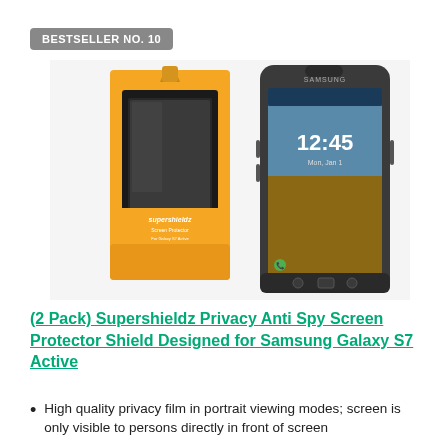BESTSELLER NO. 10
[Figure (photo): Product image showing Supershieldz screen protector packaging (black and orange) alongside a Samsung Galaxy S7 Active smartphone displaying a lock screen with time 12:45]
(2 Pack) Supershieldz Privacy Anti Spy Screen Protector Shield Designed for Samsung Galaxy S7 Active
High quality privacy film in portrait viewing modes; screen is only visible to persons directly in front of screen